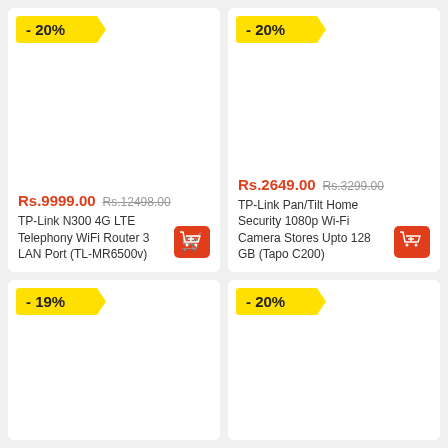- 20%
Rs.9999.00  Rs.12498.00
TP-Link N300 4G LTE Telephony WiFi Router 3 LAN Port (TL-MR6500v)
- 20%
Rs.2649.00  Rs.3299.00
TP-Link Pan/Tilt Home Security 1080p Wi-Fi Camera Stores Upto 128 GB (Tapo C200)
- 19%
- 20%